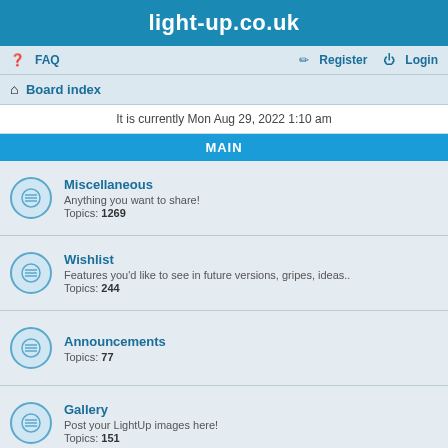light-up.co.uk
FAQ   Register   Login
Board index
It is currently Mon Aug 29, 2022 1:10 am
MAIN
Miscellaneous
Anything you want to share!
Topics: 1269
Wishlist
Features you'd like to see in future versions, gripes, ideas..
Topics: 244
Announcements
Topics: 77
Gallery
Post your LightUp images here!
Topics: 151
Tutorials
Explanations, Walk through, tips and techniques related to LightUp
Topics: 112
LOGIN • REGISTER